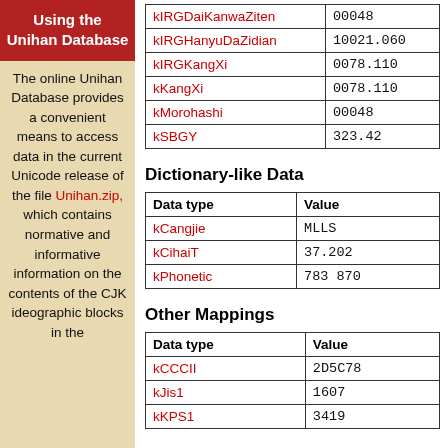Using the Unihan Database
The online Unihan Database provides a convenient means to access data in the current Unicode release of the file Unihan.zip, which contains normative and informative information on the contents of the CJK ideographic blocks in the
| Data type | Value |
| --- | --- |
| kIRGDaiKanwaZiten | 00048 |
| kIRGHanyuDaZidian | 10021.060 |
| kIRGKangXi | 0078.110 |
| kKangXi | 0078.110 |
| kMorohashi | 00048 |
| kSBGY | 323.42 |
Dictionary-like Data
| Data type | Value |
| --- | --- |
| kCangjie | MLLS |
| kCihaiT | 37.202 |
| kPhonetic | 783  870 |
Other Mappings
| Data type | Value |
| --- | --- |
| kCCCII | 2D5C78 |
| kJis1 | 1607 |
| kKPS1 | 3419 |